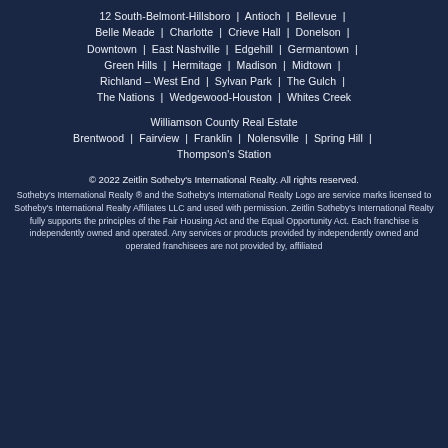12 South-Belmont-Hillsboro | Antioch | Bellevue | Belle Meade | Charlotte | Crieve Hall | Donelson | Downtown | East Nashville | Edgehill | Germantown | Green Hills | Hermitage | Madison | Midtown | Richland – West End | Sylvan Park | The Gulch | The Nations | Wedgewood-Houston | Whites Creek
Williamson County Real Estate
Brentwood | Fairview | Franklin | Nolensville | Spring Hill | Thompson's Station
© 2022 Zeitlin Sotheby's International Realty. All rights reserved.
Sotheby's International Realty ® and the Sotheby's International Realty Logo are service marks licensed to Sotheby's International Realty Affiliates LLC and used with permission. Zeitlin Sotheby's International Realty fully supports the principles of the Fair Housing Act and the Equal Opportunity Act. Each franchise is independently owned and operated. Any services or products provided by independently owned and operated franchisees are not provided by, affiliated